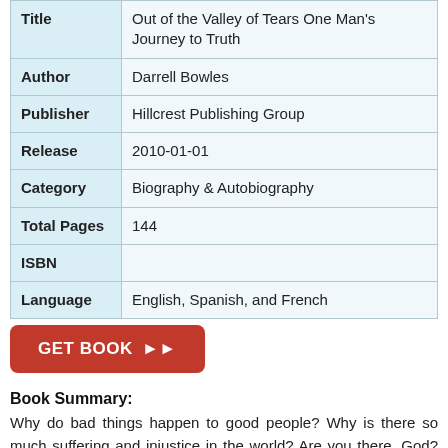| Field | Value |
| --- | --- |
| Title | Out of the Valley of Tears One Man's Journey to Truth |
| Author | Darrell Bowles |
| Publisher | Hillcrest Publishing Group |
| Release | 2010-01-01 |
| Category | Biography & Autobiography |
| Total Pages | 144 |
| ISBN |  |
| Language | English, Spanish, and French |
GET BOOK ▶▶
Book Summary:
Why do bad things happen to good people? Why is there so much suffering and injustice in the world? Are you there, God? Darrell Bowles, a former Marine and now a registered nurse, husband and father, believes in the American dream. A world-class endurance athlete, he's